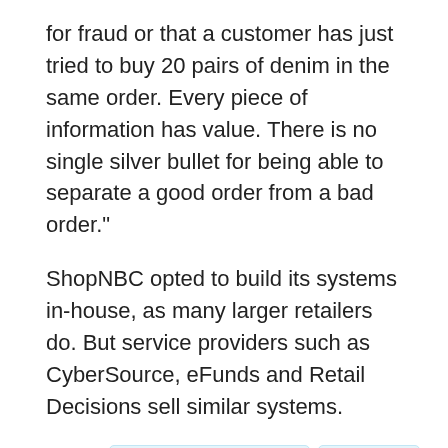for fraud or that a customer has just tried to buy 20 pairs of denim in the same order. Every piece of information has value. There is no single silver bullet for being able to separate a good order from a bad order."
ShopNBC opted to build its systems in-house, as many larger retailers do. But service providers such as CyberSource, eFunds and Retail Decisions sell similar systems.
Related: Identity Management Solutions   DLP Software   Data and Information Security   Fraud
Page 1 of 2 >